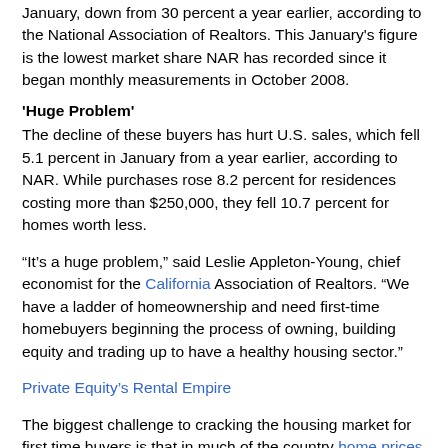January, down from 30 percent a year earlier, according to the National Association of Realtors. This January's figure is the lowest market share NAR has recorded since it began monthly measurements in October 2008.
'Huge Problem'
The decline of these buyers has hurt U.S. sales, which fell 5.1 percent in January from a year earlier, according to NAR. While purchases rose 8.2 percent for residences costing more than $250,000, they fell 10.7 percent for homes worth less.
“It’s a huge problem,” said Leslie Appleton-Young, chief economist for the California Association of Realtors. “We have a ladder of homeownership and need first-time homebuyers beginning the process of owning, building equity and trading up to have a healthy housing sector.”
Private Equity’s Rental Empire
The biggest challenge to cracking the housing market for first time buyers is that in much of the country home prices are rising faster than incomes.